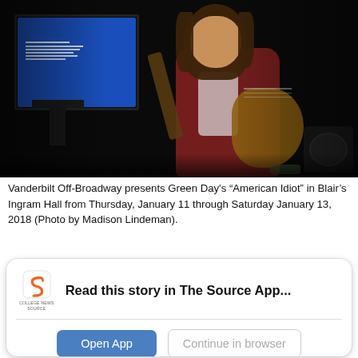[Figure (photo): A performer with long hair plays guitar on a dark stage. Behind them is a blue projection screen with text. On the right is a speaker/amp.]
Vanderbilt Off-Broadway presents Green Day's “American Idiot” in Blair’s Ingram Hall from Thursday, January 11 through Saturday January 13, 2018 (Photo by Madison Lindeman).
Read this story in The Source App...
Open App
Continue in browser